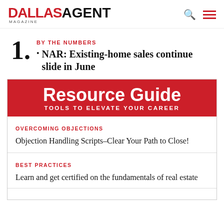DALLAS AGENT MAGAZINE
BY THE NUMBERS
NAR: Existing-home sales continue slide in June
Resource Guide — TOOLS TO ELEVATE YOUR CAREER
OVERCOMING OBJECTIONS
Objection Handling Scripts–Clear Your Path to Close!
BEST PRACTICES
Learn and get certified on the fundamentals of real estate